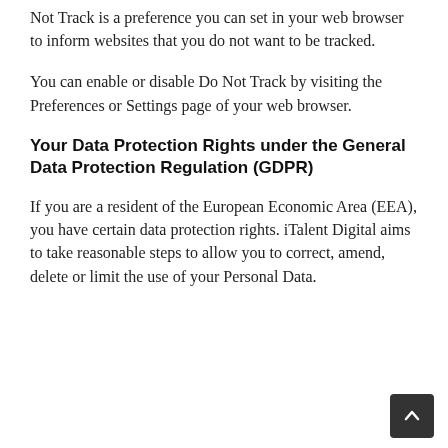Not Track is a preference you can set in your web browser to inform websites that you do not want to be tracked.
You can enable or disable Do Not Track by visiting the Preferences or Settings page of your web browser.
Your Data Protection Rights under the General Data Protection Regulation (GDPR)
If you are a resident of the European Economic Area (EEA), you have certain data protection rights. iTalent Digital aims to take reasonable steps to allow you to correct, amend, delete or limit the use of your Personal Data.